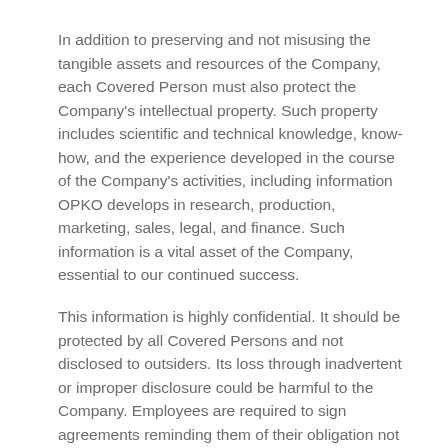In addition to preserving and not misusing the tangible assets and resources of the Company, each Covered Person must also protect the Company's intellectual property. Such property includes scientific and technical knowledge, know-how, and the experience developed in the course of the Company's activities, including information OPKO develops in research, production, marketing, sales, legal, and finance. Such information is a vital asset of the Company, essential to our continued success.
This information is highly confidential. It should be protected by all Covered Persons and not disclosed to outsiders. Its loss through inadvertent or improper disclosure could be harmful to the Company. Employees are required to sign agreements reminding them of their obligation not to disclose the Company's confidential information, both while they are employed and after they leave the Company.